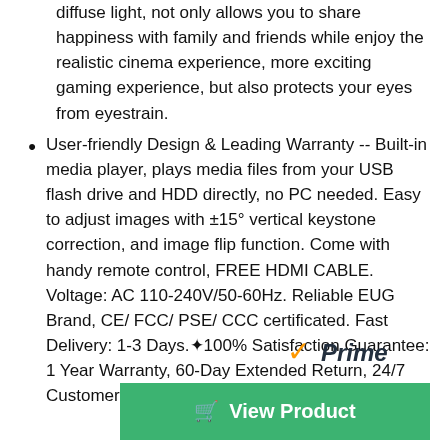...diffuse light, not only allows you to share happiness with family and friends while enjoy the realistic cinema experience, more exciting gaming experience, but also protects your eyes from eyestrain.
User-friendly Design & Leading Warranty -- Built-in media player, plays media files from your USB flash drive and HDD directly, no PC needed. Easy to adjust images with ±15° vertical keystone correction, and image flip function. Come with handy remote control, FREE HDMI CABLE. Voltage: AC 110-240V/50-60Hz. Reliable EUG Brand, CE/ FCC/ PSE/ CCC certificated. Fast Delivery: 1-3 Days.✦100% Satisfaction Guarantee: 1 Year Warranty, 60-Day Extended Return, 24/7 Customer Service✦
[Figure (logo): Amazon Prime logo with orange checkmark and italic Prime text]
View Product